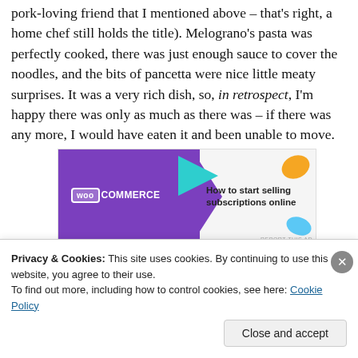pork-loving friend that I mentioned above – that's right, a home chef still holds the title). Melograno's pasta was perfectly cooked, there was just enough sauce to cover the noodles, and the bits of pancetta were nice little meaty surprises. It was a very rich dish, so, in retrospect, I'm happy there was only as much as there was – if there was any more, I would have eaten it and been unable to move.
[Figure (other): WooCommerce advertisement banner: purple background on left with WooCommerce logo and teal arrow shape, white right side with text 'How to start selling subscriptions online' and orange and blue leaf shapes]
It was also at our meal with us. A Melograno virgin, she
Privacy & Cookies: This site uses cookies. By continuing to use this website, you agree to their use.
To find out more, including how to control cookies, see here: Cookie Policy
Close and accept